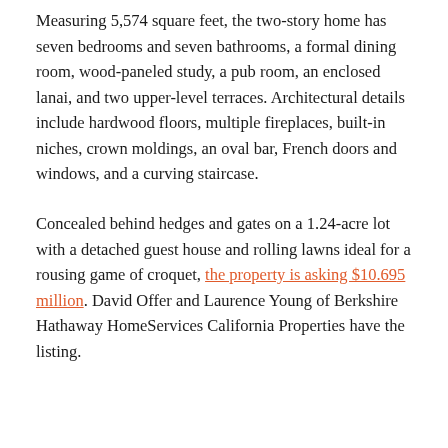Measuring 5,574 square feet, the two-story home has seven bedrooms and seven bathrooms, a formal dining room, wood-paneled study, a pub room, an enclosed lanai, and two upper-level terraces. Architectural details include hardwood floors, multiple fireplaces, built-in niches, crown moldings, an oval bar, French doors and windows, and a curving staircase.
Concealed behind hedges and gates on a 1.24-acre lot with a detached guest house and rolling lawns ideal for a rousing game of croquet, the property is asking $10.695 million. David Offer and Laurence Young of Berkshire Hathaway HomeServices California Properties have the listing.